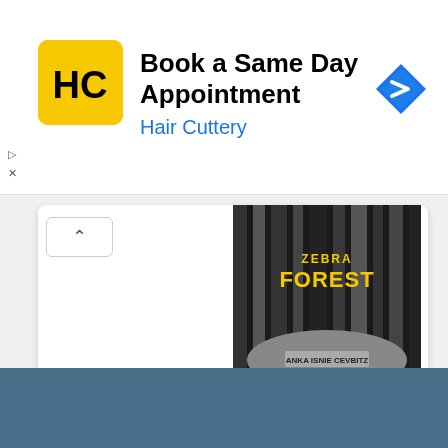[Figure (screenshot): Hair Cuttery advertisement banner with yellow logo showing HC letters, title 'Book a Same Day Appointment', subtitle 'Hair Cuttery' in blue, and a blue navigation arrow icon on the right. Small play and X control icons on the left below.]
[Figure (screenshot): Web content card showing a book cover for 'Zebra Forest' with dark forest/zebra stripe imagery, and the book title 'Zebra Forest' in blue text below the cover image. A collapse/chevron button is in the top-left of the card.]
Zebra Forest